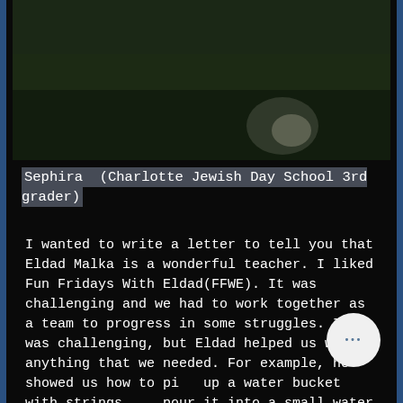[Figure (screenshot): Blurred dark video thumbnail showing a field or outdoor scene with a blurry figure in the background]
Sephira  (Charlotte Jewish Day School 3rd grader)
I wanted to write a letter to tell you that Eldad Malka is a wonderful teacher. I liked Fun Fridays With Eldad(FFWE). It was challenging and we had to work together as a team to progress in some struggles. It was challenging, but Eldad helped us with anything that we needed. For example, he showed us how to pick up a water bucket with strings and pour it into a small water bottle. He showed us which way to pour it. In